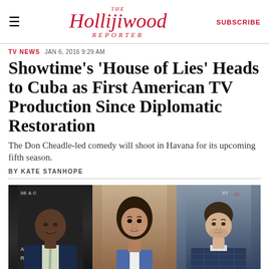The Hollywood Reporter | SUBSCRIBE
TV NEWS  JAN 6, 2016 9:29 AM
Showtime's 'House of Lies' Heads to Cuba as First American TV Production Since Diplomatic Restoration
The Don Cheadle-led comedy will shoot in Havana for its upcoming fifth season.
BY KATE STANHOPE
[Figure (photo): Three cast members of House of Lies: a bald Black man in a suit (left), a young woman of mixed ethnicity (center), and a white man in a checkered jacket (right)]